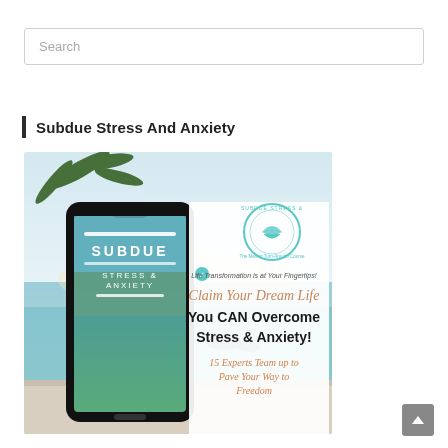Search
Subdue Stress And Anxiety
[Figure (illustration): Promotional image for 'Subdue Stress And Anxiety' showing a smartphone displaying the book/course cover with a tropical beach background. The image includes a teal circular logo with a bird/dove design reading 'SUBDUE STRESS & ANXIETY', a cursive 'Claim Your Dream Life' heading, bold text 'You CAN Overcome Stress & Anxiety!', and orange italic text '15 Experts Team up to Pave Your Way to Freedom'. A teal checkmark with 'Life Transformation is at Your Fingertips!' appears above.]